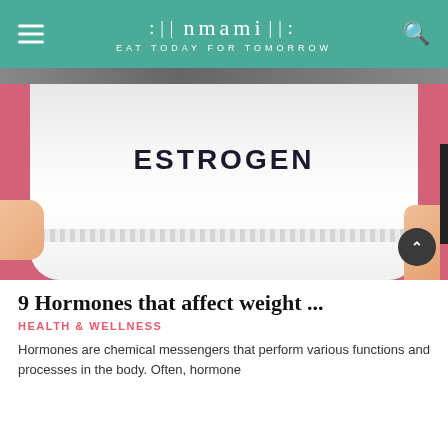nmami | EAT TODAY FOR TOMORROW
[Figure (photo): Person wearing a white t-shirt with 'ESTROGEN' printed on it, holding a measuring tape around their belly, pink background]
9 Hormones that affect weight ...
HEALTH & WELLNESS
Hormones are chemical messengers that perform various functions and processes in the body. Often, hormone